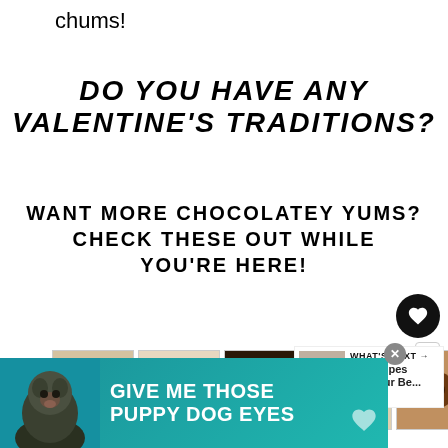chums!
DO YOU HAVE ANY VALENTINE'S TRADITIONS?
WANT MORE CHOCOLATEY YUMS? CHECK THESE OUT WHILE YOU'RE HERE!
[Figure (photo): Horizontal strip of 9 chocolate/dessert food thumbnail images]
[Figure (infographic): Social sharing buttons row: Pinterest, Facebook, Twitter, Tumblr, WhatsApp, Email, with 1K shares count]
[Figure (infographic): WHAT'S NEXT panel with thumbnail and text '20 Recipes For Your Be...']
[Figure (photo): Ad banner: Give Me Those Puppy Dog Eyes with dog image in teal background]